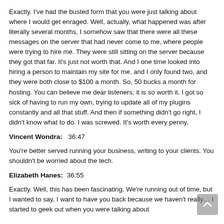Exactly. I've had the busted form that you were just talking about where I would get enraged. Well, actually, what happened was after literally several months, I somehow saw that there were all these messages on the server that had never come to me, where people were trying to hire me. They were still sitting on the server because they got that far. It's just not worth that. And I one time looked into hiring a person to maintain my site for me, and I only found two, and they were both close to $100 a month. So, 50 bucks a month for hosting. You can believe me dear listeners; it is so worth it. I got so sick of having to run my own, trying to update all of my plugins constantly and all that stuff. And then if something didn't go right, I didn't know what to do. I was screwed. It's worth every penny,
Vincent Wondra:  36:47
You're better served running your business, writing to your clients. You shouldn't be worried about the tech.
Elizabeth Hanes: 36:55
Exactly. Well, this has been fascinating. We're running out of time, but I wanted to say, I want to have you back because we haven't really… I started to geek out when you were talking about